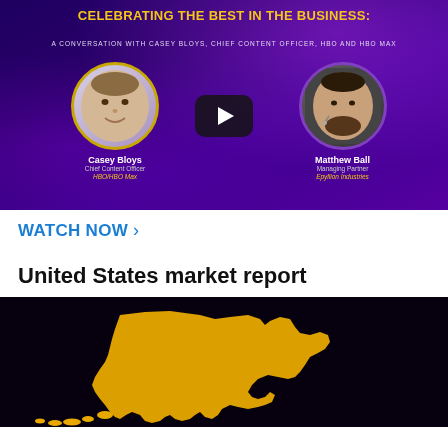[Figure (other): Video thumbnail banner with purple gradient background. Title: CELEBRATING THE BEST IN THE BUSINESS: A CONVERSATION WITH CASEY BLOYS, CHIEF CONTENT OFFICER, HBO AND HBO MAX. Shows two circular headshots — Casey Bloys (Chief Content Officer, HBO/HBO Max) on left and Matthew Ball (Managing Partner, Epyllion Industries) on right — with a YouTube-style play button in the center.]
WATCH NOW >
United States market report
[Figure (map): Dark background map showing a gold/yellow silhouette of Alaska.]